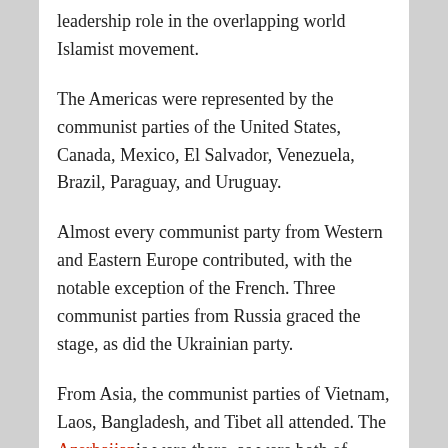leadership role in the overlapping world Islamist movement.
The Americas were represented by the communist parties of the United States, Canada, Mexico, El Salvador, Venezuela, Brazil, Paraguay, and Uruguay.
Almost every communist party from Western and Eastern Europe contributed, with the notable exception of the French. Three communist parties from Russia graced the stage, as did the Ukrainian party.
From Asia, the communist parties of Vietnam, Laos, Bangladesh, and Tibet all attended. The Azerbaijanis were there, as were both of India's main communist parties. The North Koreans were there, but the Japanese were not. China, though now in practice the leader of the world communist movement,